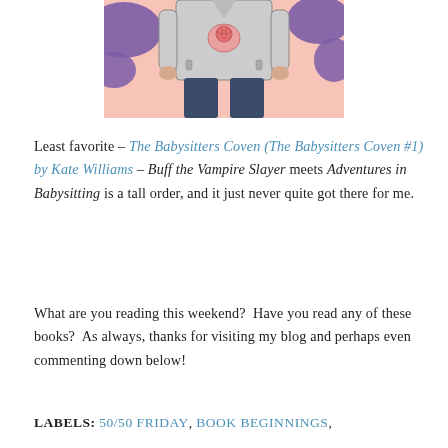[Figure (illustration): Illustration of a person from the torso down wearing a grey jacket with a pink bear logo on the front, dark jeans, against a purple and pink spotted background]
Least favorite – The Babysitters Coven (The Babysitters Coven #1) by Kate Williams – Buff the Vampire Slayer meets Adventures in Babysitting is a tall order, and it just never quite got there for me.
What are you reading this weekend?  Have you read any of these books?  As always, thanks for visiting my blog and perhaps even commenting down below!
LABELS: 50/50 FRIDAY, BOOK BEGINNINGS,